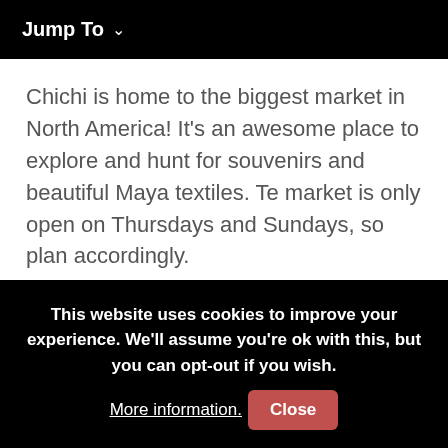Jump To ∨
Chichi is home to the biggest market in North America! It's an awesome place to explore and hunt for souvenirs and beautiful Maya textiles. Te market is only open on Thursdays and Sundays, so plan accordingly.
This website uses cookies to improve your experience. We'll assume you're ok with this, but you can opt-out if you wish. More information. Close